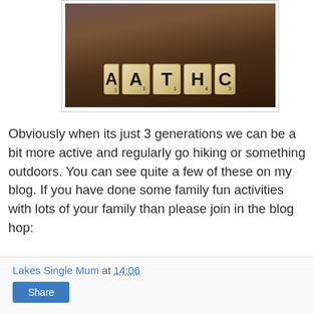[Figure (photo): Close-up photo of Scrabble tiles on a wooden board spelling letters A, T, H, C on a brown wooden surface]
Obviously when its just 3 generations we can be a bit more active and regularly go hiking or something outdoors. You can see quite a few of these on my blog. If you have done some family fun activities with lots of your family than please join in the blog hop:
Lakes Single Mum at 14:06
Share